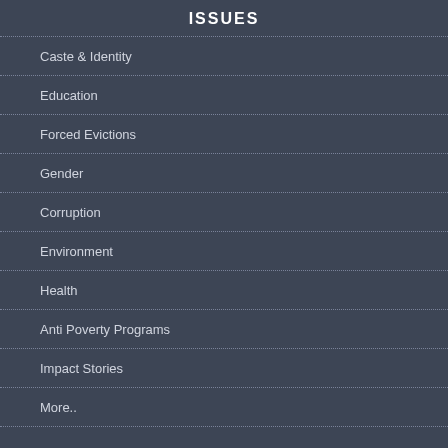ISSUES
Caste & Identity
Education
Forced Evictions
Gender
Corruption
Environment
Health
Anti Poverty Programs
Impact Stories
More..